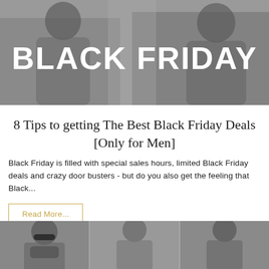[Figure (photo): Black and white photo of two men sitting, with bold white text 'BLACK FRIDAY' overlaid]
8 Tips to getting The Best Black Friday Deals [Only for Men]
Black Friday is filled with special sales hours, limited Black Friday deals and crazy door busters - but do you also get the feeling that Black...
Read More...
[Figure (photo): Black and white photo of three men's faces/hairstyles, cropped at bottom of page]